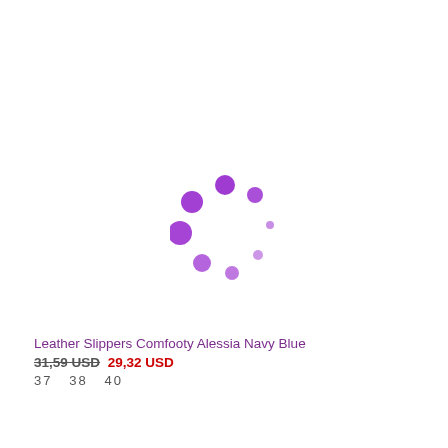[Figure (other): Purple circular loading spinner animation indicator made of dots of varying sizes arranged in a circle]
Leather Slippers Comfooty Alessia Navy Blue
31,59 USD  29,32 USD
37   38   40